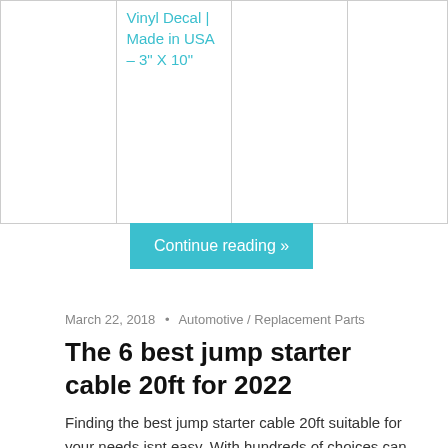|  |  |  |  |
| --- | --- | --- | --- |
|  | Vinyl Decal | Made in USA – 3" X 10" |  |  |
Continue reading »
March 22, 2018 • Automotive / Replacement Parts
The 6 best jump starter cable 20ft for 2022
Finding the best jump starter cable 20ft suitable for your needs isnt easy. With hundreds of choices can distract you. Knowing whats bad and whats good can